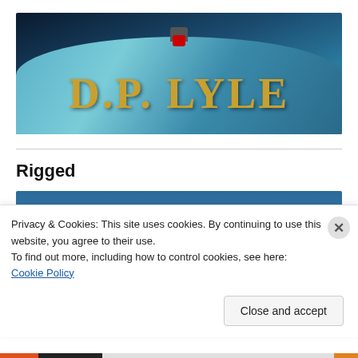[Figure (photo): Banner image with blue metallic surface (police car roof), red light on top, and golden serif text reading D.P. LYLE]
Rigged
[Figure (photo): Partial book cover image with blue background and red/dark splatter marks, partially obscured by cookie consent banner]
Privacy & Cookies: This site uses cookies. By continuing to use this website, you agree to their use.
To find out more, including how to control cookies, see here: Cookie Policy
Close and accept